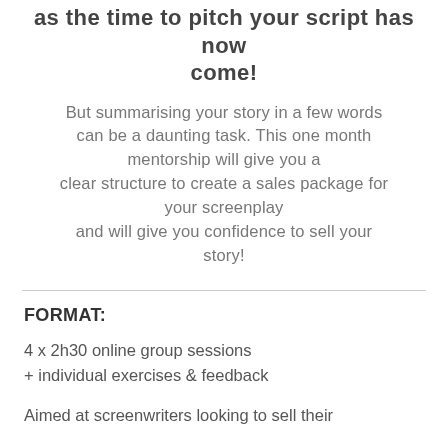as the time to pitch your script has now come!
But summarising your story in a few words can be a daunting task. This one month mentorship will give you a clear structure to create a sales package for your screenplay and will give you confidence to sell your story!
FORMAT:
4 x 2h30 online group sessions
+ individual exercises & feedback
Aimed at screenwriters looking to sell their